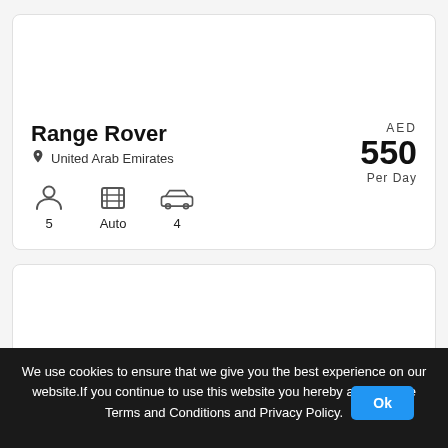Range Rover
United Arab Emirates
AED 550 Per Day
5   Auto   4
We use cookies to ensure that we give you the best experience on our website. If you continue to use this website you hereby agree to the Terms and Conditions and Privacy Policy.